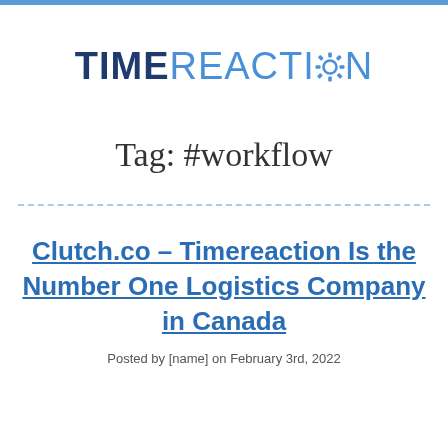[Figure (logo): TimeReaction logo with gear icon replacing the O in REACTION]
Tag: #workflow
Clutch.co – Timereaction Is the Number One Logistics Company in Canada
Posted by [name] on February 3rd, 2022